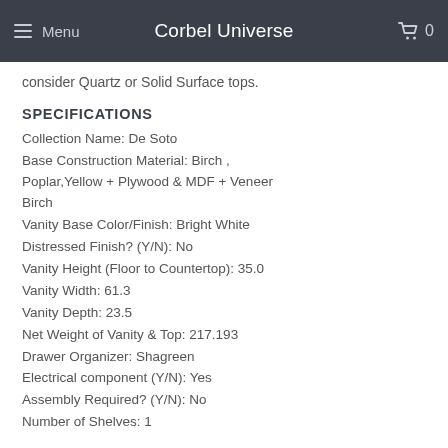Menu | Corbel Universe | 0
consider Quartz or Solid Surface tops.
SPECIFICATIONS
Collection Name: De Soto
Base Construction Material: Birch , Poplar,Yellow + Plywood & MDF + Veneer Birch
Vanity Base Color/Finish: Bright White
Distressed Finish? (Y/N): No
Vanity Height (Floor to Countertop): 35.0
Vanity Width: 61.3
Vanity Depth: 23.5
Net Weight of Vanity & Top: 217.193
Drawer Organizer: Shagreen
Electrical component (Y/N): Yes
Assembly Required? (Y/N): No
Number of Shelves: 1